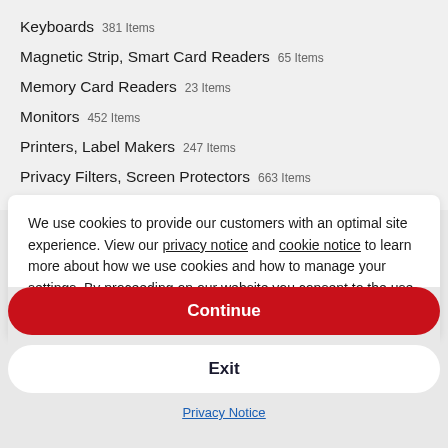Keyboards  381 Items
Magnetic Strip, Smart Card Readers  65 Items
Memory Card Readers  23 Items
Monitors  452 Items
Printers, Label Makers  247 Items
Privacy Filters, Screen Protectors  663 Items
Server Acceleration Cards  43 Items
USB Hubs  233 Items
We use cookies to provide our customers with an optimal site experience. View our privacy notice and cookie notice to learn more about how we use cookies and how to manage your settings. By proceeding on our website you consent to the use of cookies.
Continue
Exit
Privacy Notice